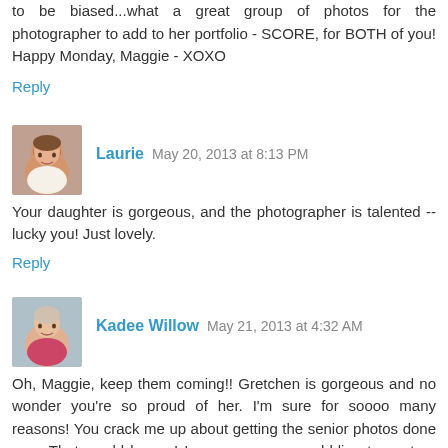to be biased...what a great group of photos for the photographer to add to her portfolio - SCORE, for BOTH of you! Happy Monday, Maggie - XOXO
Reply
Laurie  May 20, 2013 at 8:13 PM
Your daughter is gorgeous, and the photographer is talented -- lucky you! Just lovely.
Reply
Kadee Willow  May 21, 2013 at 4:32 AM
Oh, Maggie, keep them coming!! Gretchen is gorgeous and no wonder you're so proud of her. I'm sure for soooo many reasons! You crack me up about getting the senior photos done now. That would be me! I see everyone scrabbling to capture their child in the fall, too, but like you I kept putting it off. But perhaps it was meant to be as you found a photographer that was genius! And I love how you are supporting a budding artist! Just the best!! Everyone came